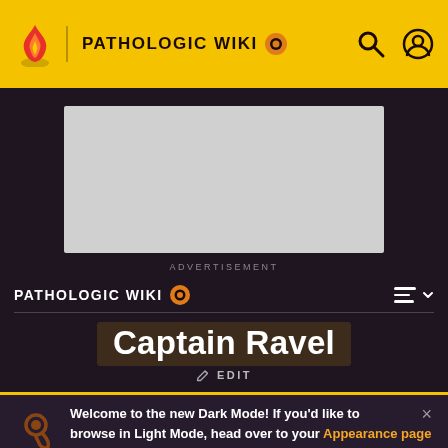PATHOLOGIC WIKI
[Figure (screenshot): Advertisement placeholder box]
ADVERTISEMENT
PATHOLOGIC WIKI
Captain Ravel
EDIT
Welcome to the new Dark Mode! If you'd like to browse in Light Mode, head over to your Appearance page while logged in and select Hydra.